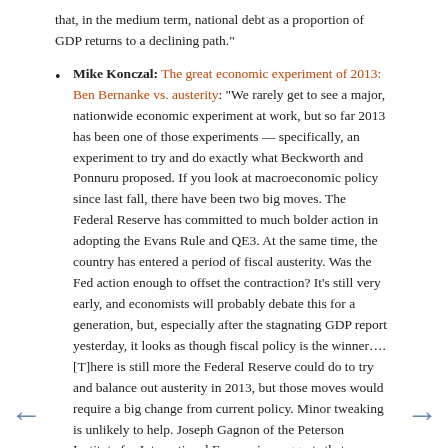that, in the medium term, national debt as a proportion of GDP returns to a declining path."
Mike Konczal: The great economic experiment of 2013: Ben Bernanke vs. austerity: "We rarely get to see a major, nationwide economic experiment at work, but so far 2013 has been one of those experiments — specifically, an experiment to try and do exactly what Beckworth and Ponnuru proposed. If you look at macroeconomic policy since last fall, there have been two big moves. The Federal Reserve has committed to much bolder action in adopting the Evans Rule and QE3. At the same time, the country has entered a period of fiscal austerity. Was the Fed action enough to offset the contraction? It's still very early, and economists will probably debate this for a generation, but, especially after the stagnating GDP report yesterday, it looks as though fiscal policy is the winner…. [T]here is still more the Federal Reserve could do to try and balance out austerity in 2013, but those moves would require a big change from current policy. Minor tweaking is unlikely to help. Joseph Gagnon of the Peterson Institute for International Economics suggests that, instead of committing to mortgage purchases, the Fed could target the mortgage rate for a time. Other economists, such as Brad DeLong, suggest that an explicit higher inflation target would be important. Still others, ranging from Christina Romer to market monetarists, think the Fed"